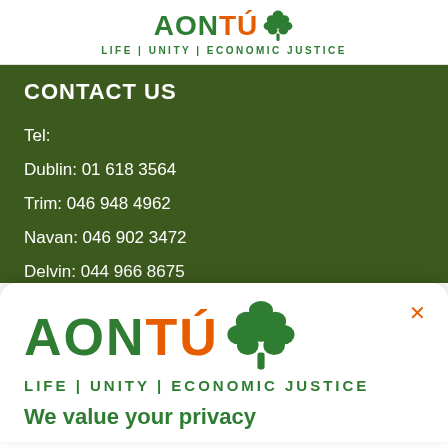[Figure (logo): Aontú logo with green tree icon and tagline LIFE | UNITY | ECONOMIC JUSTICE]
CONTACT US
Tel:
Dublin: 01 618 3564
Trim: 046 948 4962
Navan: 046 902 3472
Delvin: 044 966 8675
[Figure (logo): Aontú logo large with green tree icon and tagline LIFE | UNITY | ECONOMIC JUSTICE, shown in popup card]
We value your privacy